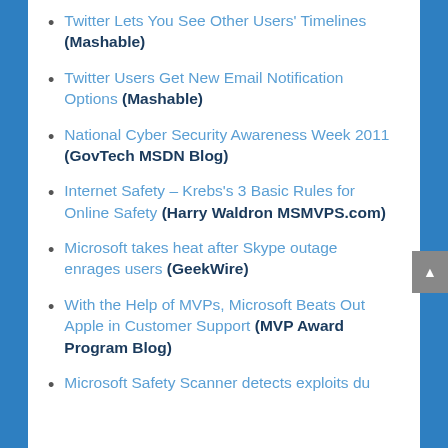Twitter Lets You See Other Users' Timelines (Mashable)
Twitter Users Get New Email Notification Options (Mashable)
National Cyber Security Awareness Week 2011 (GovTech MSDN Blog)
Internet Safety – Krebs's 3 Basic Rules for Online Safety (Harry Waldron MSMVPS.com)
Microsoft takes heat after Skype outage enrages users (GeekWire)
With the Help of MVPs, Microsoft Beats Out Apple in Customer Support (MVP Award Program Blog)
Microsoft Safety Scanner detects exploits du…